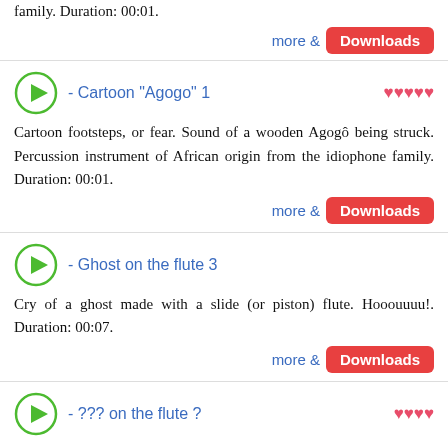family. Duration: 00:01.
more & Downloads
- Cartoon "Agogo" 1
Cartoon footsteps, or fear. Sound of a wooden Agogô being struck. Percussion instrument of African origin from the idiophone family. Duration: 00:01.
more & Downloads
- Ghost on the flute 3
Cry of a ghost made with a slide (or piston) flute. Hooouuuu!. Duration: 00:07.
more & Downloads